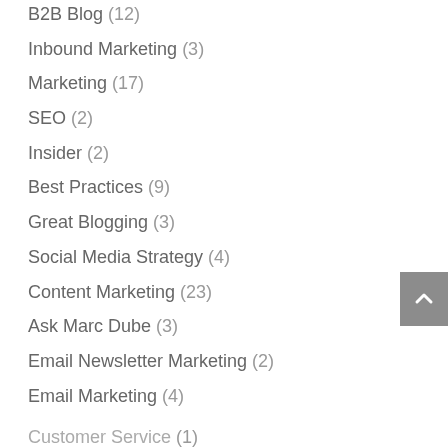B2B Blog (12)
Inbound Marketing (3)
Marketing (17)
SEO (2)
Insider (2)
Best Practices (9)
Great Blogging (3)
Social Media Strategy (4)
Content Marketing (23)
Ask Marc Dube (3)
Email Newsletter Marketing (2)
Email Marketing (4)
Customer Service (1)